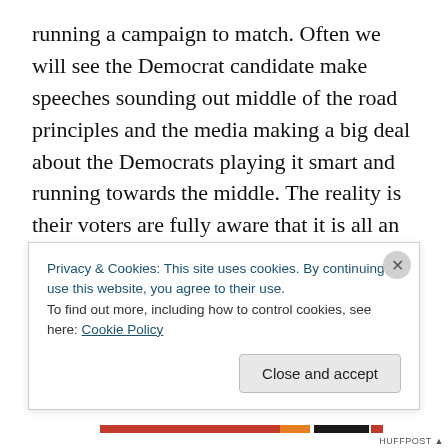running a campaign to match. Often we will see the Democrat candidate make speeches sounding out middle of the road principles and the media making a big deal about the Democrats playing it smart and running towards the middle. The reality is their voters are fully aware that it is all an act made to try and force the republican candidate to do likewise. Often this ploy in tandem with the media trumpeting the wisdom and campaign advisors who still remember what can only be called 'the good old days' when winning the middle of the road vote was essential and they advise the Republican to fish in those same
Privacy & Cookies: This site uses cookies. By continuing to use this website, you agree to their use.
To find out more, including how to control cookies, see here: Cookie Policy
Close and accept